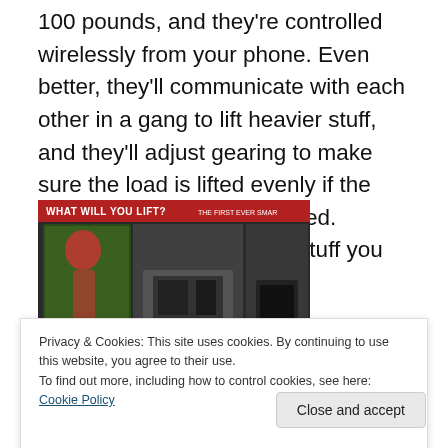100 pounds, and they're controlled wirelessly from your phone. Even better, they'll communicate with each other in a gang to lift heavier stuff, and they'll adjust gearing to make sure the load is lifted evenly if the weight isn't evenly distributed. Perfect for a bike or other stuff you may have lying around.
[Figure (photo): A trade show booth display for 'myLIFTER' smart lifting device, showing a red banner reading 'WHAT WILL YOU LIFT? THE FIRST EVER SMAR...' with a TV screen, machinery/device on display, and booth visitors.]
Privacy & Cookies: This site uses cookies. By continuing to use this website, you agree to their use.
To find out more, including how to control cookies, see here: Cookie Policy
Close and accept
[Figure (photo): Partial bottom image showing dark scene, cut off at bottom of page.]